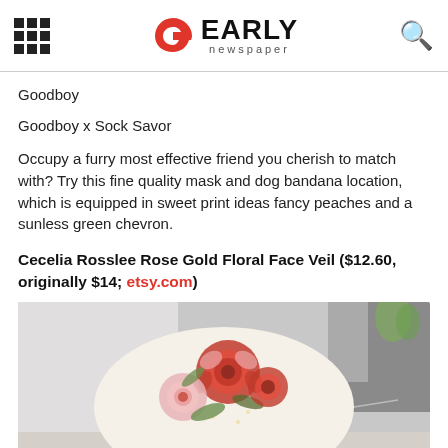EARLY newspaper
Goodboy
Goodboy x Sock Savor
Occupy a furry most effective friend you cherish to match with? Try this fine quality mask and dog bandana location, which is equipped in sweet print ideas fancy peaches and a sunless green chevron.
Cecelia Rosslee Rose Gold Floral Face Veil ($12.60, originally $14; etsy.com)
[Figure (photo): A floral face mask with pink and red rose print on a light cream background with small polka dots, placed on a surface with a blurred grey background.]